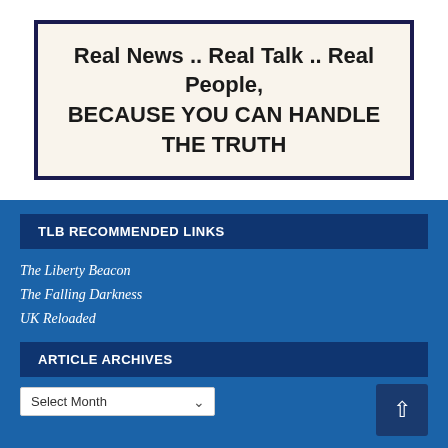[Figure (illustration): Banner box with dark navy border on cream background containing bold text: 'Real News .. Real Talk .. Real People, BECAUSE YOU CAN HANDLE THE TRUTH']
TLB RECOMMENDED LINKS
The Liberty Beacon
The Falling Darkness
UK Reloaded
ARTICLE ARCHIVES
Select Month